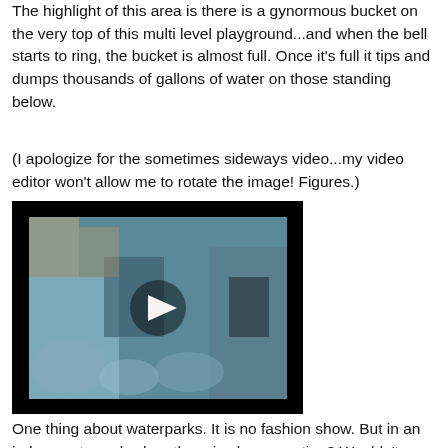The highlight of this area is there is a gynormous bucket on the very top of this multi level playground...and when the bell starts to ring, the bucket is almost full. Once it's full it tips and dumps thousands of gallons of water on those standing below.
(I apologize for the sometimes sideways video...my video editor won't allow me to rotate the image! Figures.)
[Figure (screenshot): Embedded video player showing a sideways/rotated view of a water playground with a play button overlay. The footage shows water slides and people at an indoor waterpark, viewed from an unusual angle.]
One thing about waterparks. It is no fashion show. But in an indoor waterpark when there is always motion? Wouldn't you wear something that would stay in place? We lost count adding up the amount of butt cracks that were exposed. And